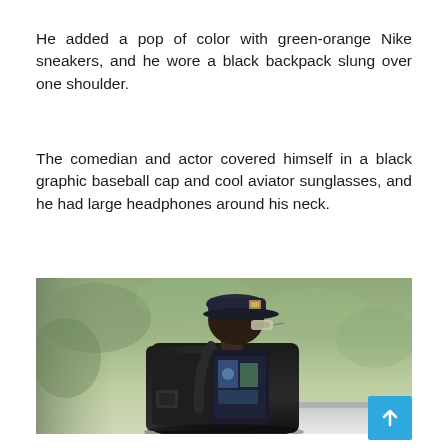He added a pop of color with green-orange Nike sneakers, and he wore a black backpack slung over one shoulder.
The comedian and actor covered himself in a black graphic baseball cap and cool aviator sunglasses, and he had large headphones around his neck.
[Figure (photo): A man seen from behind wearing a black graphic jacket with a black backpack slung over one shoulder, a dark baseball cap with a logo patch, and aviator sunglasses. The background is blurred green foliage. A white surface is visible at the bottom right.]